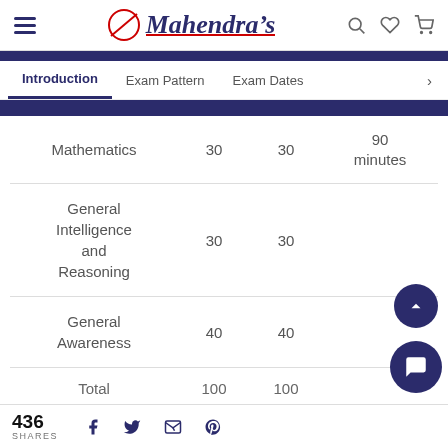Mahendra's — navigation header with hamburger menu, logo, search, wishlist, cart icons
Introduction | Exam Pattern | Exam Dates >
| Subject | Questions | Marks | Duration |
| --- | --- | --- | --- |
| Mathematics | 30 | 30 | 90 minutes |
| General Intelligence and Reasoning | 30 | 30 |  |
| General Awareness | 40 | 40 |  |
| Total | 100 | 100 |  |
436 SHARES | Facebook | Twitter | Email | Pinterest